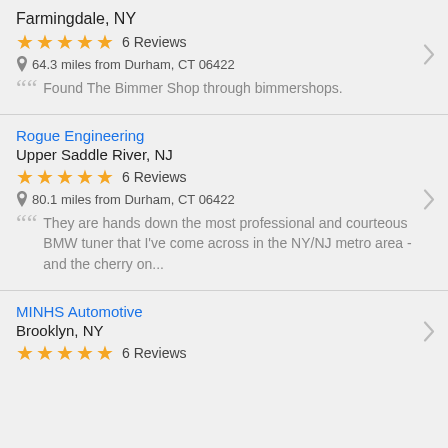Farmingdale, NY
★★★★★ 6 Reviews
64.3 miles from Durham, CT 06422
Found The Bimmer Shop through bimmershops.
Rogue Engineering
Upper Saddle River, NJ
★★★★★ 6 Reviews
80.1 miles from Durham, CT 06422
They are hands down the most professional and courteous BMW tuner that I've come across in the NY/NJ metro area - and the cherry on...
MINHS Automotive
Brooklyn, NY
★★★★★ 6 Reviews